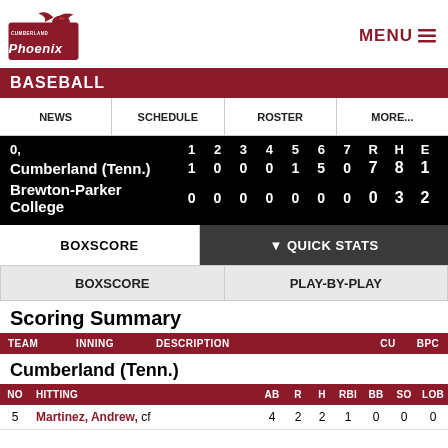Cumberland Phoenix Baseball | MENU
NEWS | SCHEDULE | ROSTER | MORE...
| 0, | 1 | 2 | 3 | 4 | 5 | 6 | 7 | R | H | E |
| --- | --- | --- | --- | --- | --- | --- | --- | --- | --- | --- |
| Cumberland (Tenn.) | 1 | 0 | 0 | 0 | 1 | 5 | 0 | 7 | 8 | 1 |
| Brewton-Parker College | 0 | 0 | 0 | 0 | 0 | 0 | 0 | 0 | 3 | 2 |
BOXSCORE | ▼ QUICK STATS
BOXSCORE | PLAY-BY-PLAY
Scoring Summary
| TEAM | INNING | DESCRIPTION | CU | BPC |
| --- | --- | --- | --- | --- |
Cumberland (Tenn.)
| NO | HITTING | AB | R | H | RBI | BB | SO | LOB |
| --- | --- | --- | --- | --- | --- | --- | --- | --- |
| 5 | Martinez, Andrew, cf | 4 | 2 | 2 | 1 | 0 | 0 | 0 |